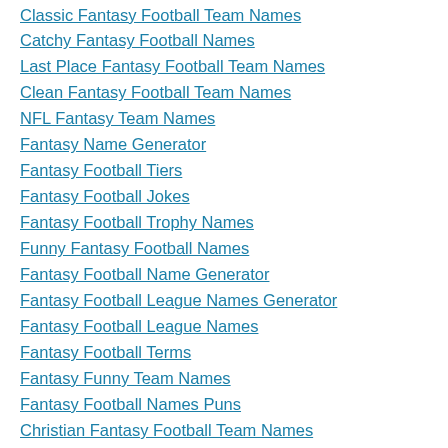Classic Fantasy Football Team Names
Catchy Fantasy Football Names
Last Place Fantasy Football Team Names
Clean Fantasy Football Team Names
NFL Fantasy Team Names
Fantasy Name Generator
Fantasy Football Tiers
Fantasy Football Jokes
Fantasy Football Trophy Names
Funny Fantasy Football Names
Fantasy Football Name Generator
Fantasy Football League Names Generator
Fantasy Football League Names
Fantasy Football Terms
Fantasy Funny Team Names
Fantasy Football Names Puns
Christian Fantasy Football Team Names
Creative Fantasy Football League Names
Playoff Pool Names